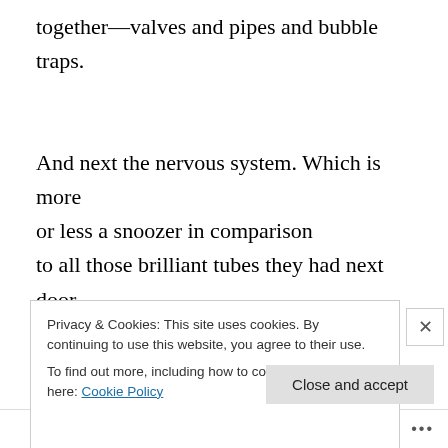together—valves and pipes and bubble traps.
And next the nervous system. Which is more
or less a snoozer in comparison
to all those brilliant tubes they had next door.
It's gray, like the intestine… and so on.
Attention spans are merciful sometimes.
It all blends into one big Fulan Gong
Privacy & Cookies: This site uses cookies. By continuing to use this website, you agree to their use.
To find out more, including how to control cookies, see here: Cookie Policy
Close and accept
Follow ...